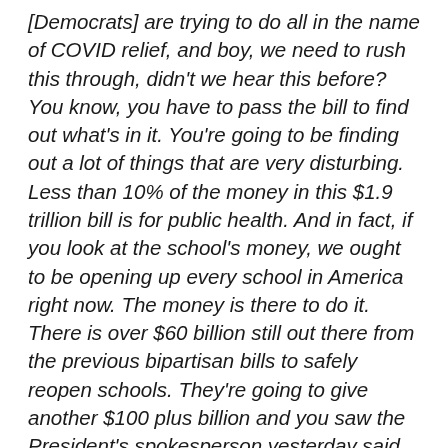[Democrats] are trying to do all in the name of COVID relief, and boy, we need to rush this through, didn't we hear this before? You know, you have to pass the bill to find out what's in it. You're going to be finding out a lot of things that are very disturbing. Less than 10% of the money in this $1.9 trillion bill is for public health. And in fact, if you look at the school's money, we ought to be opening up every school in America right now. The money is there to do it. There is over $60 billion still out there from the previous bipartisan bills to safely reopen schools. They're going to give another $100 plus billion and you saw the President's spokesperson yesterday said it's not even going to require them to open up schools. They just get the money. They don't have to educate our kids in the classroom which is devastating millions of kids across America. That's what's in this bill, you know, $15